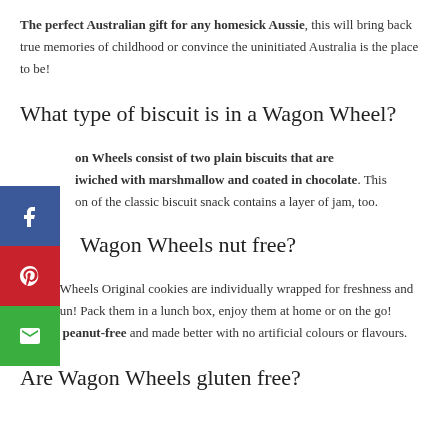The perfect Australian gift for any homesick Aussie, this will bring back true memories of childhood or convince the uninitiated Australia is the place to be!
What type of biscuit is in a Wagon Wheel?
Wagon Wheels consist of two plain biscuits that are sandwiched with marshmallow and coated in chocolate. This version of the classic biscuit snack contains a layer of jam, too.
Are Wagon Wheels nut free?
Wagon Wheels Original cookies are individually wrapped for freshness and full of fun! Pack them in a lunch box, enjoy them at home or on the go! They're peanut-free and made better with no artificial colours or flavours.
Are Wagon Wheels gluten free?